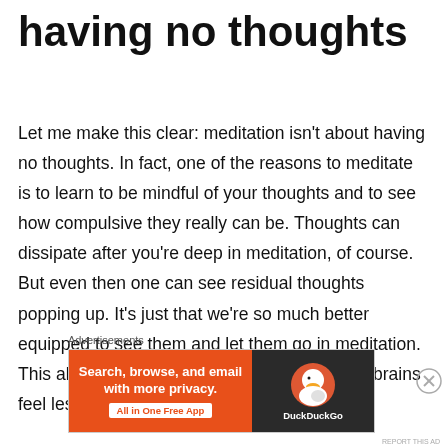having no thoughts
Let me make this clear: meditation isn’t about having no thoughts. In fact, one of the reasons to meditate is to learn to be mindful of your thoughts and to see how compulsive they really can be. Thoughts can dissipate after you’re deep in meditation, of course.  But even then one can see residual thoughts popping up. It’s just that we’re so much better equipped to see them and let them go in meditation. This also spills over into our daily lives as our brains feel less weighed down my ruminations
[Figure (screenshot): DuckDuckGo advertisement banner: orange and dark background, text reads 'Search, browse, and email with more privacy. All in One Free App' with DuckDuckGo logo and name on the right side.]